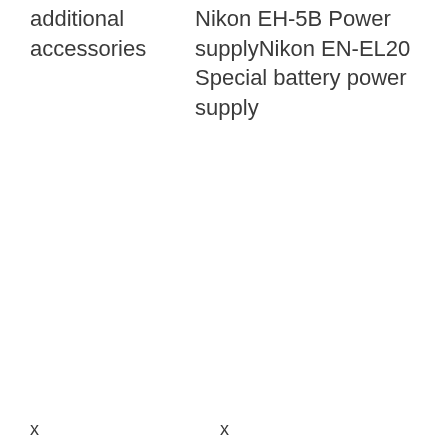| additional accessories | Nikon EH-5B Power supplyNikon EN-EL20 Special battery power supply |
x
x